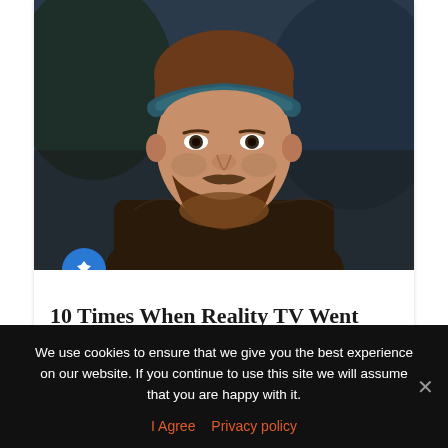[Figure (photo): A man with a beard and a bandana/headband sitting and looking forward, in a dark environment. The bandana reads 'GAME CHANGER'. A blue circular pin badge with a thumbtack icon overlaps the bottom-left corner of the photo.]
10 Times When Reality TV Went Too Far – 2020 – Listverse
We use cookies to ensure that we give you the best experience on our website. If you continue to use this site we will assume that you are happy with it.
I Agree   Privacy policy